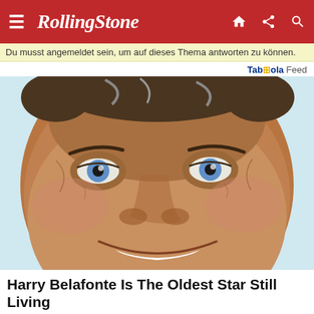Rolling Stone
Du musst angemeldet sein, um auf dieses Thema antworten zu können.
Taboola Feed
[Figure (photo): Close-up portrait of Harry Belafonte, an elderly man with brown skin, grey hair, bright blue eyes, and a broad smile showing white teeth, photographed against a bright sky background.]
Harry Belafonte Is The Oldest Star Still Living